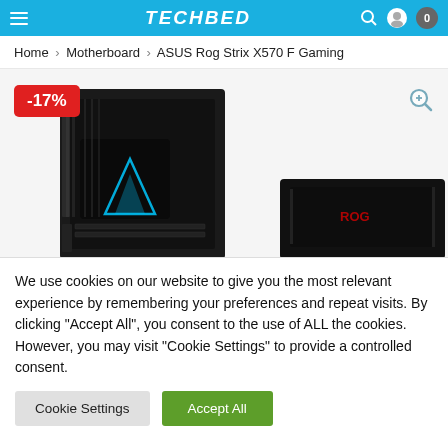TECHBED — navigation header with logo, search, account, and cart icons
Home › Motherboard › ASUS Rog Strix X570 F Gaming
[Figure (photo): Product image of ASUS ROG Strix X570-F Gaming motherboard with -17% discount badge and zoom icon]
We use cookies on our website to give you the most relevant experience by remembering your preferences and repeat visits. By clicking "Accept All", you consent to the use of ALL the cookies. However, you may visit "Cookie Settings" to provide a controlled consent.
Cookie Settings   Accept All